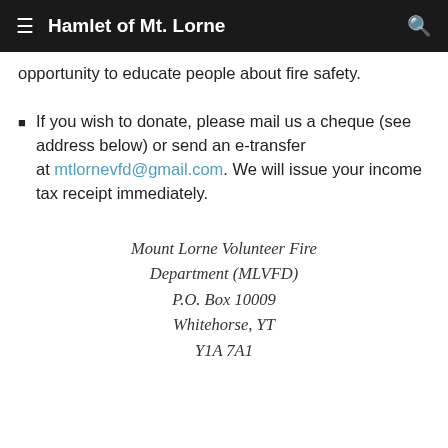Hamlet of Mt. Lorne
opportunity to educate people about fire safety.
If you wish to donate, please mail us a cheque (see address below) or send an e-transfer at mtlornevfd@gmail.com. We will issue your income tax receipt immediately.
Mount Lorne Volunteer Fire Department (MLVFD)
P.O. Box 10009
Whitehorse, YT
Y1A 7A1